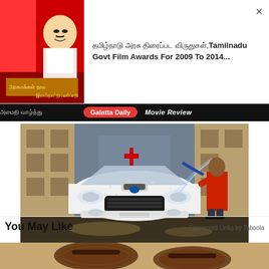[Figure (screenshot): Advertisement banner showing a Tamil politician photo with Tamil and English text about Tamilnadu Govt Film Awards For 2009 To 2014]
தமிழ்நாடு அரசு திரைப்பட விருதுகள்,Tamilnadu Govt Film Awards For 2009 To 2014...
Galatta Daily   Movie Review
[Figure (photo): Photo of a white Subaru WRX car being washed with a pressure hose by a person in red jacket at a car wash facility]
10 Weird Car Maintenance Tips That Will Shock You
You May Like
Sponsored Links by Taboola
[Figure (photo): Partial image showing sandals on sandy ground at bottom of page]